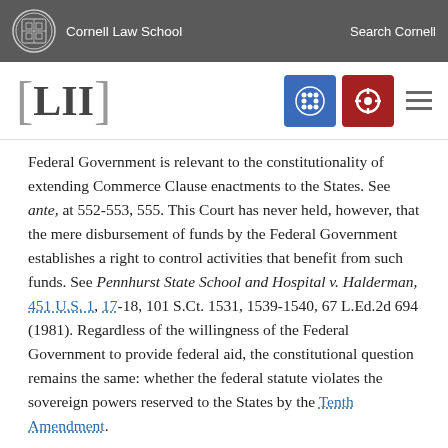Cornell Law School | Search Cornell
[Figure (logo): LII Legal Information Institute logo with navigation icons]
Federal Government is relevant to the constitutionality of extending Commerce Clause enactments to the States. See ante, at 552-553, 555. This Court has never held, however, that the mere disbursement of funds by the Federal Government establishes a right to control activities that benefit from such funds. See Pennhurst State School and Hospital v. Halderman, 451 U.S. 1, 17-18, 101 S.Ct. 1531, 1539-1540, 67 L.Ed.2d 694 (1981). Regardless of the willingness of the Federal Government to provide federal aid, the constitutional question remains the same: whether the federal statute violates the sovereign powers reserved to the States by the Tenth Amendment.